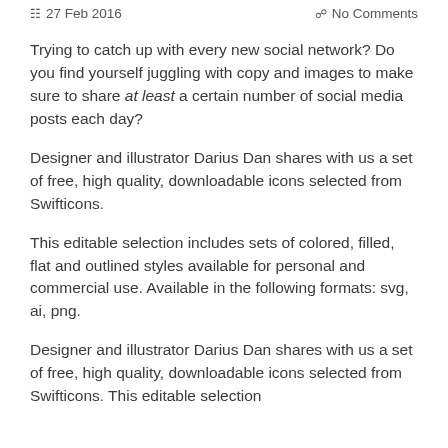27 Feb 2016   No Comments
Trying to catch up with every new social network? Do you find yourself juggling with copy and images to make sure to share at least a certain number of social media posts each day?
Designer and illustrator Darius Dan shares with us a set of free, high quality, downloadable icons selected from Swifticons.
This editable selection includes sets of colored, filled, flat and outlined styles available for personal and commercial use. Available in the following formats: svg, ai, png.
Designer and illustrator Darius Dan shares with us a set of free, high quality, downloadable icons selected from Swifticons. This editable selection